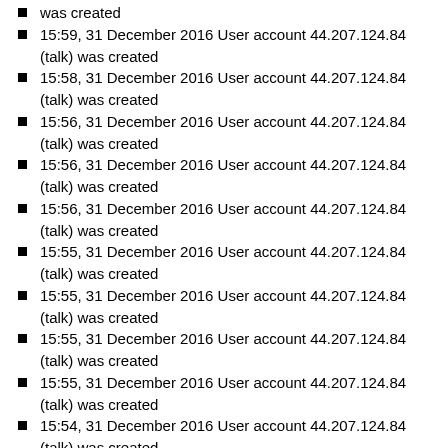was created
15:59, 31 December 2016 User account 44.207.124.84 (talk) was created
15:58, 31 December 2016 User account 44.207.124.84 (talk) was created
15:56, 31 December 2016 User account 44.207.124.84 (talk) was created
15:56, 31 December 2016 User account 44.207.124.84 (talk) was created
15:56, 31 December 2016 User account 44.207.124.84 (talk) was created
15:55, 31 December 2016 User account 44.207.124.84 (talk) was created
15:55, 31 December 2016 User account 44.207.124.84 (talk) was created
15:55, 31 December 2016 User account 44.207.124.84 (talk) was created
15:55, 31 December 2016 User account 44.207.124.84 (talk) was created
15:54, 31 December 2016 User account 44.207.124.84 (talk) was created
15:54, 31 December 2016 User account 44.207.124.84 (talk) was created
15:54, 31 December 2016 User account 44.207.124.84 (talk) was created